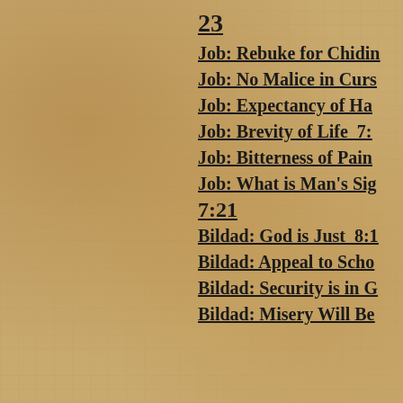23
Job: Rebuke for Chiding
Job: No Malice in Curse
Job: Expectancy of Happiness
Job: Brevity of Life  7:
Job: Bitterness of Pain
Job: What is Man's Significance
7:21
Bildad: God is Just  8:1
Bildad: Appeal to Scholarship
Bildad: Security is in G
Bildad: Misery Will Be